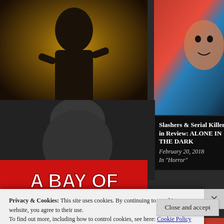[Figure (photo): Movie card for The Collector (2009) — dark horror movie poster showing a masked figure, with title and date overlay]
Slashers & Serial Killers in Review: The Collector (2009)
April 17, 2018
In "Horror"
[Figure (photo): Movie card for Alone in the Dark — horror movie image with colorful scene, title and date overlay]
Slashers & Serial Killers in Review: ALONE IN THE DARK
February 20, 2018
In "Horror"
[Figure (photo): A Bay of Blood movie title card with red background and bold white letters]
Privacy & Cookies: This site uses cookies. By continuing to use this website, you agree to their use.
To find out more, including how to control cookies, see here: Cookie Policy
Close and accept